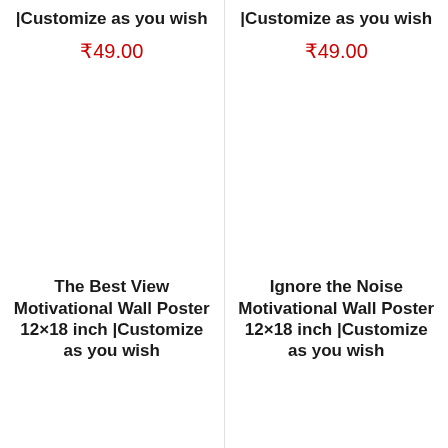|Customize as you wish
₹49.00
|Customize as you wish
₹49.00
The Best View Motivational Wall Poster 12×18 inch |Customize as you wish
Ignore the Noise Motivational Wall Poster 12×18 inch |Customize as you wish